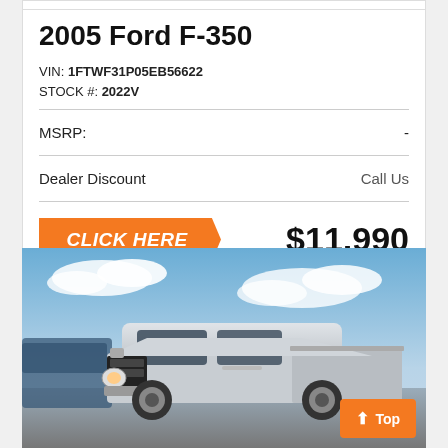2005 Ford F-350
VIN: 1FTWF31P05EB56622
STOCK #: 2022V
|  |  |
| --- | --- |
| MSRP: | - |
| Dealer Discount | Call Us |
| CLICK HERE | $11,990 |
[Figure (photo): Silver pickup truck (appears to be a Ram 1500) photographed outdoors in a dealership lot with blue sky and clouds in background. Other vehicles visible behind it.]